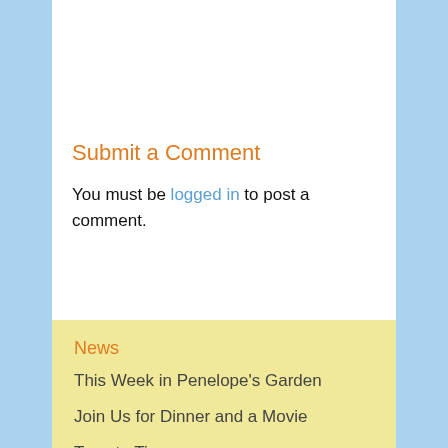Submit a Comment
You must be logged in to post a comment.
News
This Week in Penelope's Garden
Join Us for Dinner and a Movie
Tomato Time
Dinish (Ethiopian Potato, Cabbage & Carrot Stew)